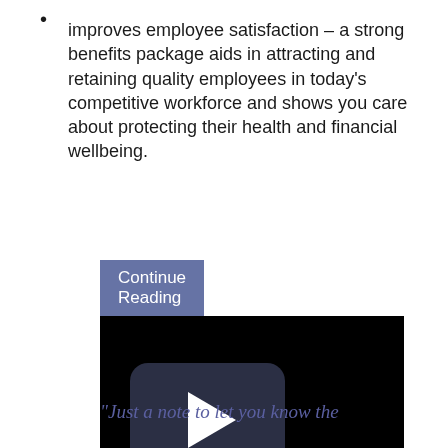improves employee satisfaction – a strong benefits package aids in attracting and retaining quality employees in today's competitive workforce and shows you care about protecting their health and financial wellbeing.
Continue Reading
[Figure (screenshot): A video player with a black background and a YouTube-style play button (rounded rectangle with play triangle) on the left side.]
"Just a note to let you know the